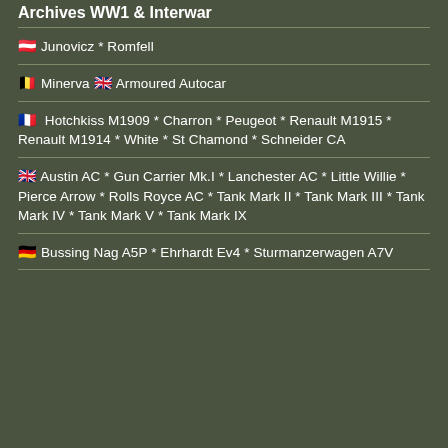Archives WW1 & Interwar
🇦🇹 Junovicz * Romfell
🇧🇪 Minerva 🇬🇧 Armoured Autocar
🇫🇷 Hotchkiss M1909 * Charron * Peugeot * Renault M1915 * Renault M1914 * White * St Chamond * Schneider CA
🇬🇧 Austin AC * Gun Carrier Mk.I * Lanchester AC * Little Willie * Pierce Arrow * Rolls Royce AC * Tank Mark II * Tank Mark III * Tank Mark IV * Tank Mark V * Tank Mark IX
🇩🇪 Bussing Nag A5P * Ehrhardt Ev4 * Sturmanzerwagen A7V